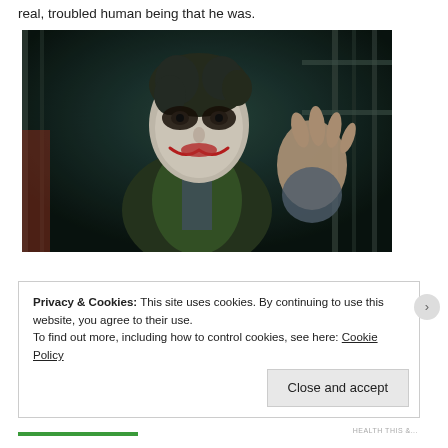real, troubled human being that he was.
[Figure (photo): Heath Ledger as the Joker from The Dark Knight, wearing white face paint with red lipstick and dark eye makeup, dressed in a green vest and dark shirt, raising one hand, standing in front of bars/cage-like structure in a dark scene]
Privacy & Cookies: This site uses cookies. By continuing to use this website, you agree to their use. To find out more, including how to control cookies, see here: Cookie Policy
Close and accept